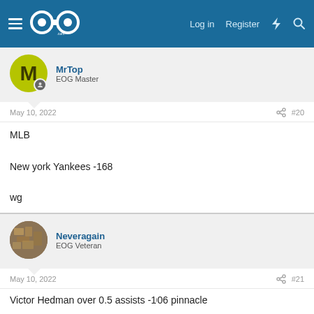EOG (Eyes on Gaming) - Log in | Register
MrTop
EOG Master
May 10, 2022  #20
MLB

New york Yankees -168

wg
Neveragain
EOG Veteran
May 10, 2022  #21
Victor Hedman over 0.5 assists -106 pinnacle